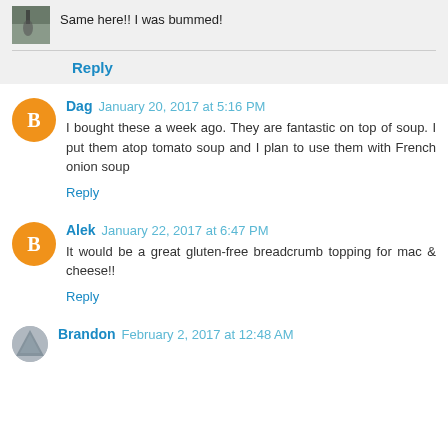Same here!! I was bummed!
Reply
Dag  January 20, 2017 at 5:16 PM
I bought these a week ago. They are fantastic on top of soup. I put them atop tomato soup and I plan to use them with French onion soup
Reply
Alek  January 22, 2017 at 6:47 PM
It would be a great gluten-free breadcrumb topping for mac & cheese!!
Reply
Brandon  February 2, 2017 at 12:48 AM